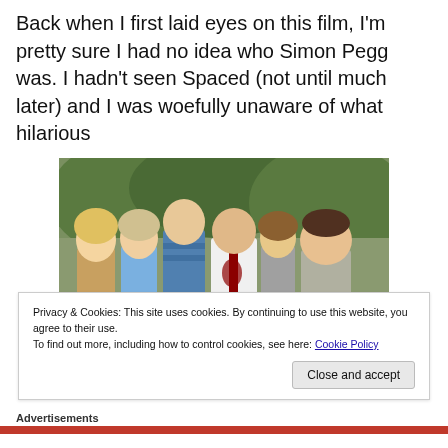Back when I first laid eyes on this film, I'm pretty sure I had no idea who Simon Pegg was. I hadn't seen Spaced (not until much later) and I was woefully unaware of what hilarious
[Figure (photo): Group of five people (characters from a film) standing together outdoors, appearing alarmed or shocked. The central man wears a white shirt with a tie and has blood on his shirt. Trees visible in background.]
Privacy & Cookies: This site uses cookies. By continuing to use this website, you agree to their use.
To find out more, including how to control cookies, see here: Cookie Policy
Close and accept
Advertisements